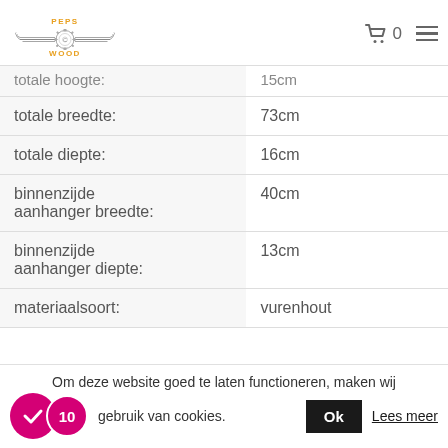Peps Wood logo, cart icon 0, hamburger menu
| totale hoogte: | 15cm |
| totale breedte: | 73cm |
| totale diepte: | 16cm |
| binnenzijde aanhanger breedte: | 40cm |
| binnenzijde aanhanger diepte: | 13cm |
| materiaalsoort: | vurenhout |
Om deze website goed te laten functioneren, maken wij gebruik van cookies.
Ok  Lees meer